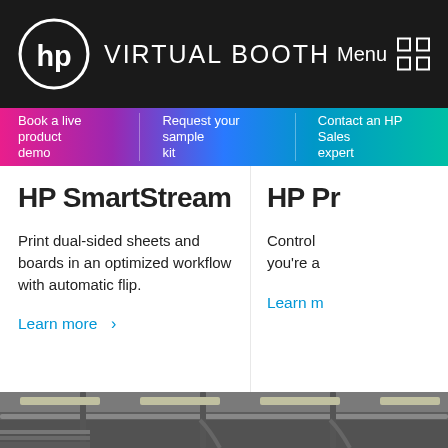HP VIRTUAL BOOTH   Menu
Book a live product demo
Request your sample kit
Contact an HP Sales expert
HP SmartStream
Print dual-sided sheets and boards in an optimized workflow with automatic flip.
Learn more >
HP Pr
Control you're a
Learn m
[Figure (photo): Industrial warehouse ceiling with exposed pipes and lighting fixtures, dark grey concrete interior]